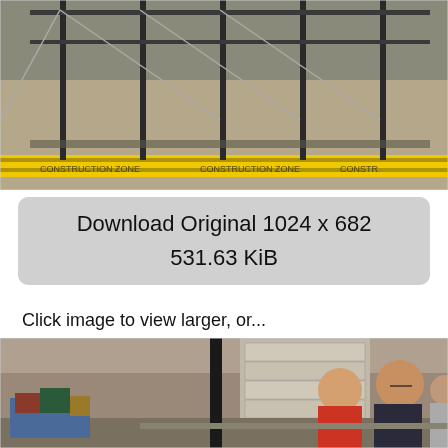[Figure (photo): Indoor scene showing metal frame structures on a polished floor with yellow construction zone tape barriers.]
Download Original 1024 x 682
531.63 KiB
Click image to view larger, or...
[Figure (photo): People standing near a table displaying elaborate LEGO constructions inside a large building or warehouse.]